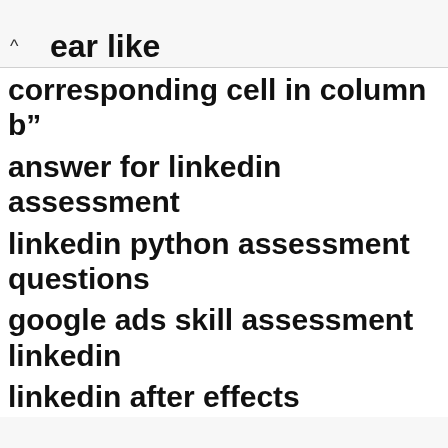^ pear like corresponding cell in column b”
answer for linkedin assessment
linkedin python assessment questions
google ads skill assessment linkedin
linkedin after effects